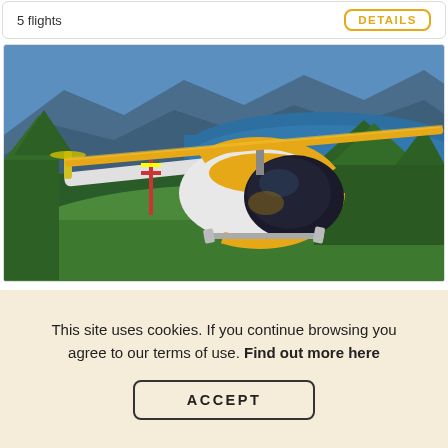5 flights
DETAILS
[Figure (photo): Yellow and white Robinson helicopter parked on a grassy hillside overlooking a large alpine lake surrounded by mountains and green trees. The sky is blue. The helicopter has a yellow rotor blade and black cockpit bubble.]
This site uses cookies. If you continue browsing you agree to our terms of use. Find out more here
ACCEPT